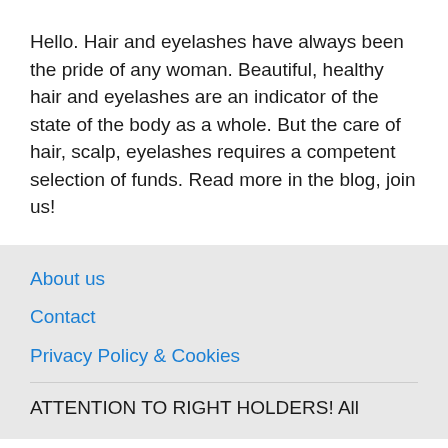Hello. Hair and eyelashes have always been the pride of any woman. Beautiful, healthy hair and eyelashes are an indicator of the state of the body as a whole. But the care of hair, scalp, eyelashes requires a competent selection of funds. Read more in the blog, join us!
About us
Contact
Privacy Policy & Cookies
ATTENTION TO RIGHT HOLDERS! All